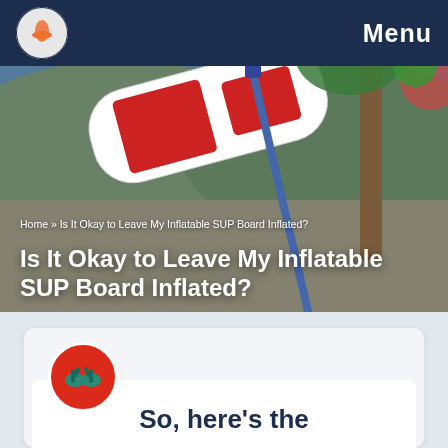Menu
[Figure (photo): Inflatable SUP board leaning against a tree on a sandy beach with palm trees and hills in background]
Home » Is It Okay to Leave My Inflatable SUP Board Inflated?
Is It Okay to Leave My Inflatable SUP Board Inflated?
[Figure (illustration): Red circular icon with two flip-flop sandals]
So, here's the